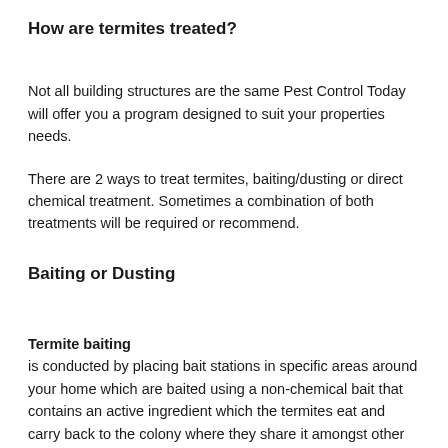How are termites treated?
Not all building structures are the same Pest Control Today will offer you a program designed to suit your properties needs.
There are 2 ways to treat termites, baiting/dusting or direct chemical treatment. Sometimes a combination of both treatments will be required or recommend.
Baiting or Dusting
Termite baiting is conducted by placing bait stations in specific areas around your home which are baited using a non-chemical bait that contains an active ingredient which the termites eat and carry back to the colony where they share it amongst other termites in the nest.